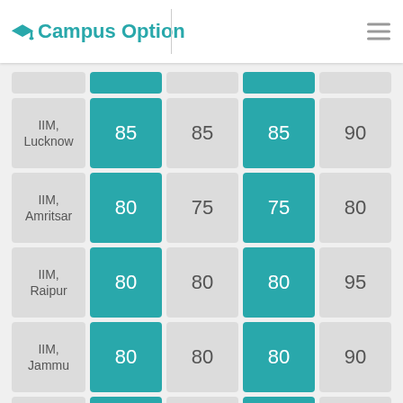Campus Option
| Institute | Col2 | Col3 | Col4 | Col5 |
| --- | --- | --- | --- | --- |
| IIM, Lucknow | 85 | 85 | 85 | 90 |
| IIM, Amritsar | 80 | 75 | 75 | 80 |
| IIM, Raipur | 80 | 80 | 80 | 95 |
| IIM, Jammu | 80 | 80 | 80 | 90 |
| IIM, Sirmaur | 80 | 80 | 80 | 95 |